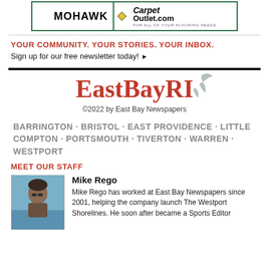[Figure (illustration): Advertisement banner for Mohawk Carpet Outlet with green border, Mohawk logo and Carpet Outlet.com text with diamond logo]
YOUR COMMUNITY. YOUR STORIES. YOUR INBOX.
Sign up for our free newsletter today! ▶
[Figure (logo): EastBayRI logo in red serif font with gray seagull bird graphic to the upper right]
©2022 by East Bay Newspapers
BARRINGTON · BRISTOL · EAST PROVIDENCE · LITTLE COMPTON · PORTSMOUTH · TIVERTON · WARREN · WESTPORT
MEET OUR STAFF
[Figure (photo): Headshot photo of Mike Rego, a man with dark hair and sunglasses outdoors near water]
Mike Rego
Mike Rego has worked at East Bay Newspapers since 2001, helping the company launch The Westport Shorelines. He soon after became a Sports Editor